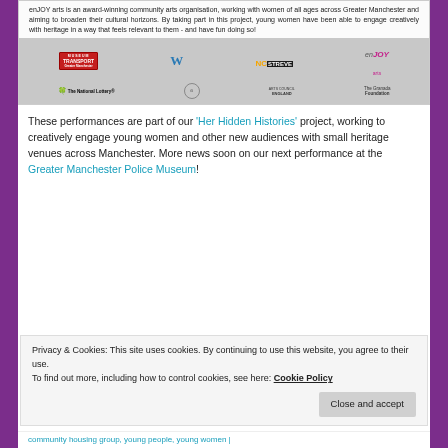[Figure (infographic): Image block with logos: Museum of Transport, Wythenshawe, NCstreve, enJOY arts, The National Lottery, Arts Council England, The Granada Foundation. Text overlay: enJOY arts is an award-winning community arts organisation, working with women of all ages across Greater Manchester and aiming to broaden their cultural horizons. By taking part in this project, young women have been able to engage creatively with heritage in a way that feels relevant to them - and have fun doing so!]
These performances are part of our ‘Her Hidden Histories’ project, working to creatively engage young women and other new audiences with small heritage venues across Manchester. More news soon on our next performance at the Greater Manchester Police Museum!
Privacy & Cookies: This site uses cookies. By continuing to use this website, you agree to their use.
To find out more, including how to control cookies, see here: Cookie Policy
community housing group, young people, young women |